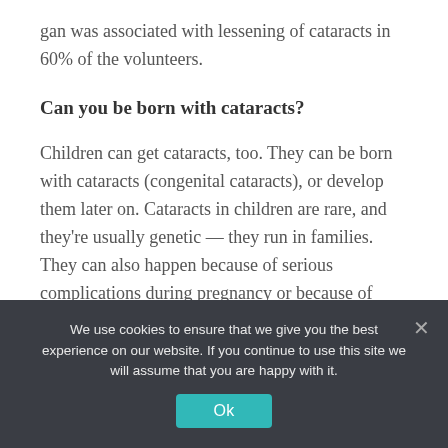gan was associated with lessening of cataracts in 60% of the volunteers.
Can you be born with cataracts?
Children can get cataracts, too. They can be born with cataracts (congenital cataracts), or develop them later on. Cataracts in children are rare, and they're usually genetic — they run in families.  They can also happen because of serious complications during pregnancy or because of illnesses during childhood, like uveitis or tumors in the eye.
We use cookies to ensure that we give you the best experience on our website. If you continue to use this site we will assume that you are happy with it.